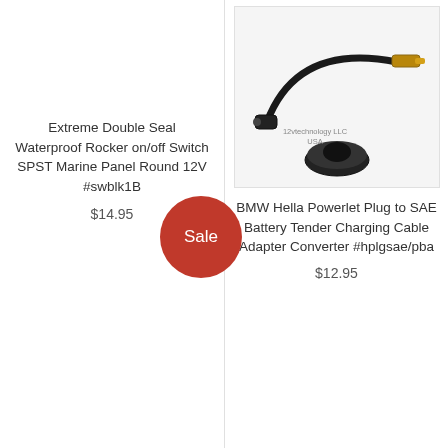[Figure (photo): Photo of BMW Hella Powerlet Plug to SAE Battery Tender Charging Cable Adapter Converter. Shows a black cable adapter with connectors, and a round black base/mount. Watermark reads '12vtechnology LLC USA'.]
BMW Hella Powerlet Plug to SAE Battery Tender Charging Cable Adapter Converter #hplgsae/pba
$12.95
Extreme Double Seal Waterproof Rocker on/off Switch SPST Marine Panel Round 12V #swblk1B
$14.95
Sale